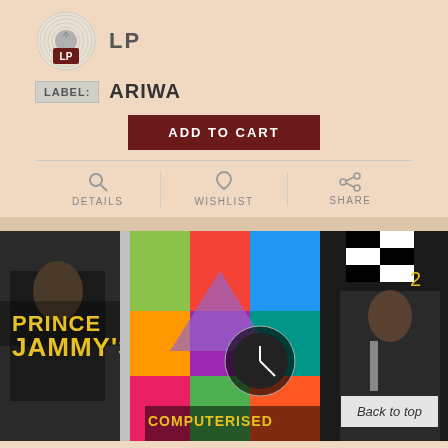[Figure (logo): LP vinyl record logo with red LP badge]
LP
LABEL: ARIWA
ADD TO CART
DETAILS
WISHLIST
SHARE
[Figure (photo): Collage album art showing Prince Jammy's Computerised Dub record covers with colorful graphic design]
Back to top